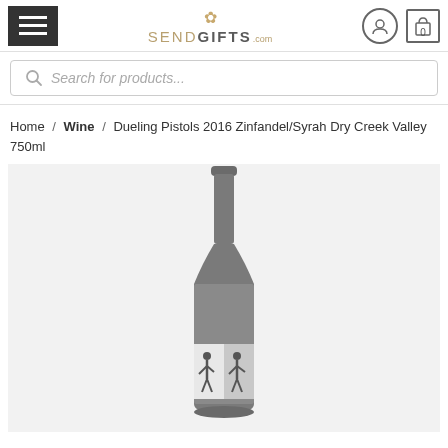SENDGIFTS.com
Search for products...
Home / Wine / Dueling Pistols 2016 Zinfandel/Syrah Dry Creek Valley 750ml
[Figure (photo): Product photo of a wine bottle with a dark label showing two figures (dueling pistols imagery). The bottle is a standard 750ml Burgundy-style wine bottle with a dark green/grey finish. The label shows a black and white scene with two figures facing each other.]